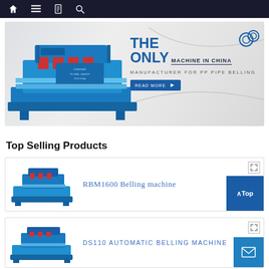[Figure (screenshot): Dark navigation bar with home, menu, book, and search icons on white background]
[Figure (photo): Hero banner with a blue industrial PP pipe belling machine on the left, and text 'THE ONLY MACHINE IN CHINA – MANUFACTURER FOR PP PIPE BELLING' on the right with a READ MORE button]
Top Selling Products
[Figure (photo): Product card showing RBM1600 Belling machine with a photo of the machine on the left and title text on the right]
RBM1600 Belling machine
[Figure (photo): Product card showing DS110 AUTOMATIC BELLING MACHINE with a photo of the machine on the left and title text]
DS110 AUTOMATIC BELLING MACHINE